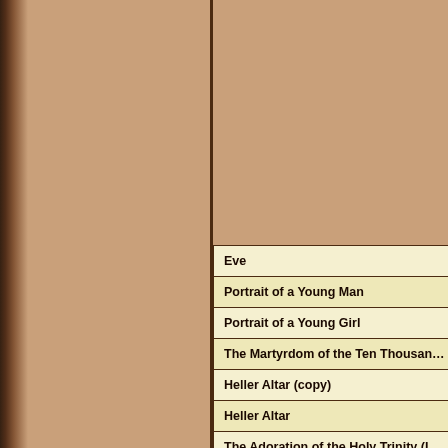| Eve |
| Portrait of a Young Man |
| Portrait of a Young Girl |
| The Martyrdom of the Ten Thousand |
| Heller Altar (copy) |
| Heller Altar |
| The Adoration of the Holy Trinity (L…) |
| The Adoration of the Trinity |
| Madonna of the Pear |